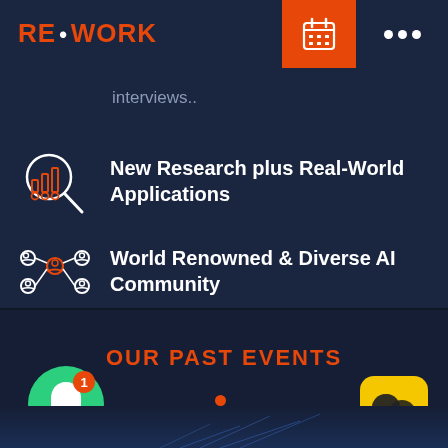RE·WORK
interviews..
New Research plus Real-World Applications
World Renowned & Diverse AI Community
OUR PAST EVENTS